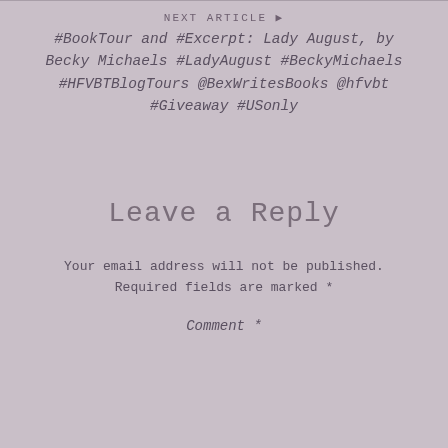NEXT ARTICLE ▶
#BookTour and #Excerpt: Lady August, by Becky Michaels #LadyAugust #BeckyMichaels #HFVBTBlogTours @BexWritesBooks @hfvbt #Giveaway #USonly
Leave a Reply
Your email address will not be published. Required fields are marked *
Comment *